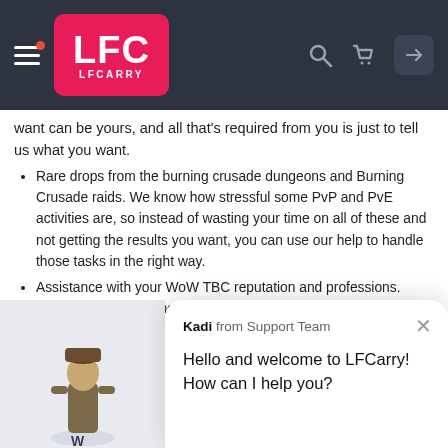LFC LFCARRY
want can be yours, and all that's required from you is just to tell us what you want.
Rare drops from the burning crusade dungeons and Burning Crusade raids. We know how stressful some PvP and PvE activities are, so instead of wasting your time on all of these and not getting the results you want, you can use our help to handle those tasks in the right way.
Assistance with your WoW TBC reputation and professions. There are many elements of the game that you should take care of in order to boost your character. We are here to help you do that fast and easily.
Burning Crusade mounts. Mounts are a big part of the game, so unlocking those for your character is a good idea. Our Burning Crusade boosting service know the fastest ways to do that, so don't worry if the chosen mount is hard to get since we are not afraid of a good challenge.
All the rewards and best gear are already waiting for you. To grab your boost, just go to lfcarry.com and share a few details about yourself with us. We will get started with your order ASAP. Level up quickly with Lfcarry!
Kadi from Support Team
Hello and welcome to LFCarry! How can I help you?